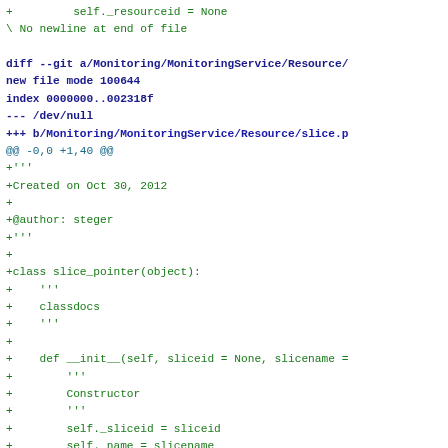diff --git code block showing Python file diff with slice_pointer class